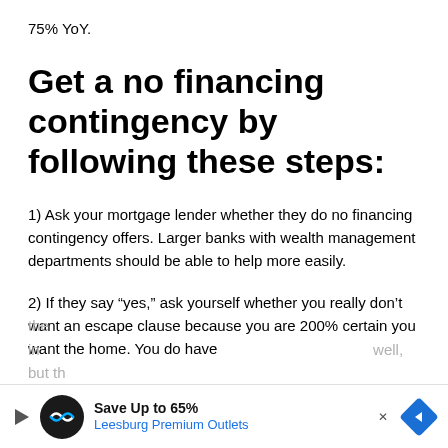75% YoY.
Get a no financing contingency by following these steps:
1) Ask your mortgage lender whether they do no financing contingency offers. Larger banks with wealth management departments should be able to help more easily.
2) If they say “yes,” ask yourself whether you really don’t want an escape clause because you are 200% certain you want the home. You do have the in[...] well, but th[...]